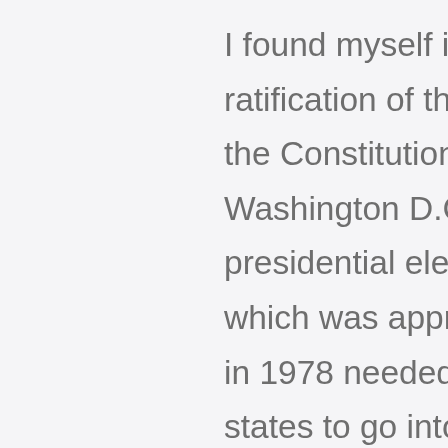I found myself involved in covering the ratification of the 23d amendment to the Constitution which gave Washington D.C. the right to vote in presidential elections. The amendment which was approved by the Congress in 1978 needed the approval of 38 states to go into effect. I first was sent to New Hampshire when the editors thought the Concord legislature would approve it. But after I got there,